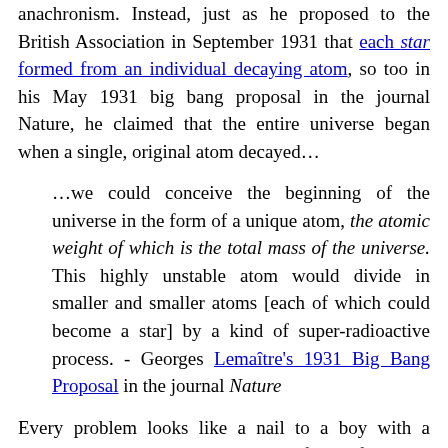anachronism. Instead, just as he proposed to the British Association in September 1931 that each star formed from an individual decaying atom, so too in his May 1931 big bang proposal in the journal Nature, he claimed that the entire universe began when a single, original atom decayed…
…we could conceive the beginning of the universe in the form of a unique atom, the atomic weight of which is the total mass of the universe. This highly unstable atom would divide in smaller and smaller atoms [each of which could become a star] by a kind of super-radioactive process. - Georges Lemaître's 1931 Big Bang Proposal in the journal Nature
Every problem looks like a nail to a boy with a hammer. So by the exciting new field of nuclear physics, Lemaître imagined the universe beginning by way of radioactive decay. (And he may have had Edgar